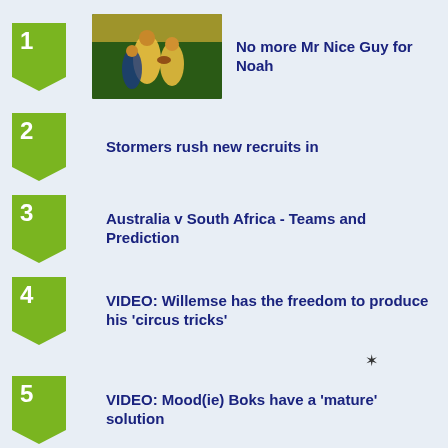[Figure (photo): Rugby players in gold Australia jerseys running with ball, item 1 thumbnail]
1. No more Mr Nice Guy for Noah
2. Stormers rush new recruits in
3. Australia v South Africa - Teams and Prediction
4. VIDEO: Willemse has the freedom to produce his 'circus tricks'
5. VIDEO: Mood(ie) Boks have a 'mature' solution